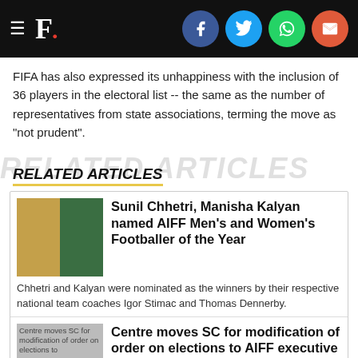F. [with social sharing icons for Facebook, Twitter, WhatsApp, Email]
FIFA has also expressed its unhappiness with the inclusion of 36 players in the electoral list -- the same as the number of representatives from state associations, terming the move as "not prudent".
RELATED ARTICLES
Sunil Chhetri, Manisha Kalyan named AIFF Men's and Women's Footballer of the Year
Chhetri and Kalyan were nominated as the winners by their respective national team coaches Igor Stimac and Thomas Dennerby.
Centre moves SC for modification of order on elections to AIFF executive committee
The Centre moved Supreme Court after FIFA and Asian Football Confederation...